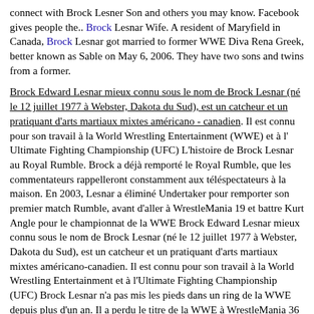connect with Brock Lesner Son and others you may know. Facebook gives people the.. Brock Lesnar Wife. A resident of Maryfield in Canada, Brock Lesnar got married to former WWE Diva Rena Greek, better known as Sable on May 6, 2006. They have two sons and twins from a former.
Brock Edward Lesnar mieux connu sous le nom de Brock Lesnar (né le 12 juillet 1977 à Webster, Dakota du Sud), est un catcheur et un pratiquant d'arts martiaux mixtes américano - canadien. Il est connu pour son travail à la World Wrestling Entertainment (WWE) et à l' Ultimate Fighting Championship (UFC) L'histoire de Brock Lesnar au Royal Rumble. Brock a déjà remporté le Royal Rumble, que les commentateurs rappelleront constamment aux téléspectateurs à la maison. En 2003, Lesnar a éliminé Undertaker pour remporter son premier match Rumble, avant d'aller à WrestleMania 19 et battre Kurt Angle pour le championnat de la WWE Brock Edward Lesnar mieux connu sous le nom de Brock Lesnar (né le 12 juillet 1977 à Webster, Dakota du Sud), est un catcheur et un pratiquant d'arts martiaux mixtes américano-canadien. Il est connu pour son travail à la World Wrestling Entertainment et à l'Ultimate Fighting Championship (UFC) Brock Lesnar n'a pas mis les pieds dans un ring de la WWE depuis plus d'un an. Il a perdu le titre de la WWE à WrestleMania 36 et s'est complètement évanoui. Cependant, ce n'est pas parce qu'il ne gagne pas beaucoup d'argent de la WWE qu'il ne passe pas un bon moment.L'ancienne superstar des [ Discover short videos related to brock lesnar ufc fight on TikTok. Watch popular content from the following creators: WorldWrestle(@worldwrestle), CATCH CATCH_ATTACK_NT1.16 (@catch_attack_nt1.16) has created a short video on TikTok with music son original. | #thebeast #brocklesnar #ufc #omg #fight #amazing #fyyn #.